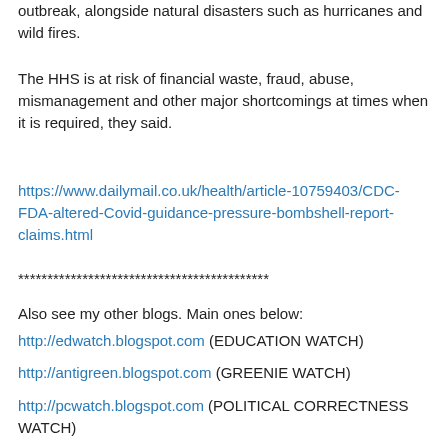outbreak, alongside natural disasters such as hurricanes and wild fires.
The HHS is at risk of financial waste, fraud, abuse, mismanagement and other major shortcomings at times when it is required, they said.
https://www.dailymail.co.uk/health/article-10759403/CDC-FDA-altered-Covid-guidance-pressure-bombshell-report-claims.html
*******************************************
Also see my other blogs. Main ones below:
http://edwatch.blogspot.com (EDUCATION WATCH)
http://antigreen.blogspot.com (GREENIE WATCH)
http://pcwatch.blogspot.com (POLITICAL CORRECTNESS WATCH)